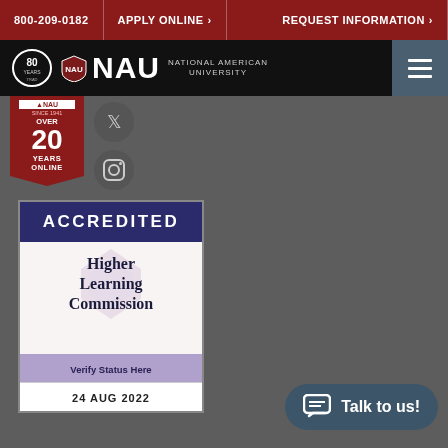800-209-0182 | APPLY ONLINE > | REQUEST INFORMATION >
[Figure (logo): NAU National American University logo with 80 years badge on black navigation bar with hamburger menu]
[Figure (logo): NAU ribbon badge: OVER 20 YEARS ONLINE with social media icons (Twitter/X and Instagram)]
[Figure (logo): Accredited Higher Learning Commission badge - Verify Status Here - 24 AUG 2022]
Talk to us!